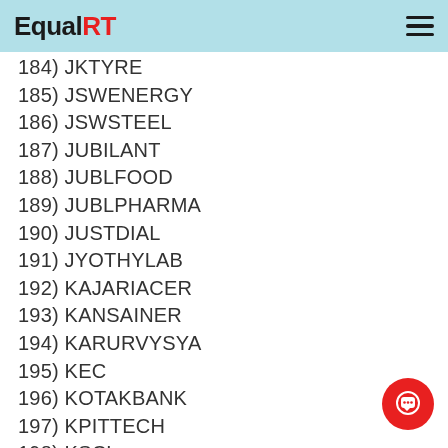EqualRT
184) JKTYRE
185) JSWENERGY
186) JSWSTEEL
187) JUBILANT
188) JUBLFOOD
189) JUBLPHARMA
190) JUSTDIAL
191) JYOTHYLAB
192) KAJARIACER
193) KANSAINER
194) KARURVYSYA
195) KEC
196) KOTAKBANK
197) KPITTECH
198) KSCL
199) KTKBANK
200) L&TFH